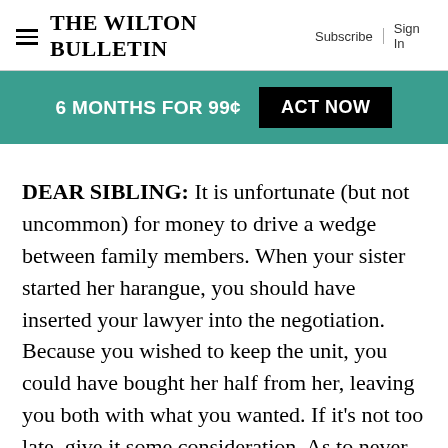The Wilton Bulletin | Subscribe | Sign In
[Figure (infographic): Teal promo bar with text '6 MONTHS FOR 99¢' and black button 'ACT NOW']
DEAR SIBLING: It is unfortunate (but not uncommon) for money to drive a wedge between family members. When your sister started her harangue, you should have inserted your lawyer into the negotiation. Because you wished to keep the unit, you could have bought her half from her, leaving you both with what you wanted. If it's not too late, give it some consideration. As to never wanting to talk to your sister, I hope with time your feelings will mellow and fences can be mended.